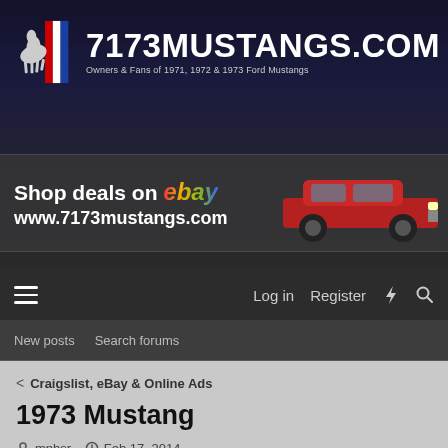[Figure (logo): 7173Mustangs.com website header with pony logo, site title, and tagline 'Owners & Fans of 1971, 1972 & 1973 Ford Mustangs']
[Figure (illustration): eBay advertisement banner: 'Shop deals on ebay www.7173mustangs.com' with red Mustang car image on the right]
Log in  Register
New posts  Search forums
Craigslist, eBay & Online Ads
1973 Mustang
mpbsr · Feb 17, 2014